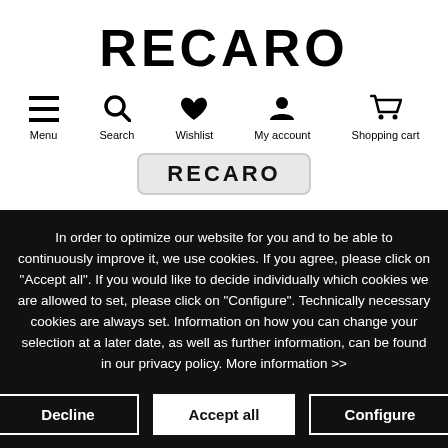RECARO
[Figure (infographic): Navigation bar with icons: Menu (hamburger), Search (magnifier), Wishlist (heart), My account (person), Shopping cart (cart)]
[Figure (logo): RECARO logo badge with rounded rectangle border]
In order to optimize our website for you and to be able to continuously improve it, we use cookies. If you agree, please click on "Accept all". If you would like to decide individually which cookies we are allowed to set, please click on "Configure". Technically necessary cookies are always set. Information on how you can change your selection at a later date, as well as further information, can be found in our privacy policy. More information >>
Decline | Accept all | Configure